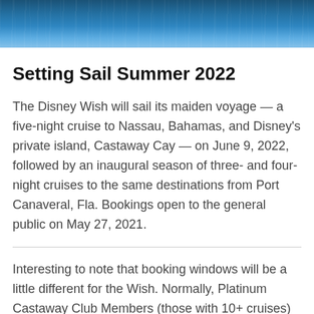[Figure (photo): Ocean water surface photo with blue tones at the top of the page]
Setting Sail Summer 2022
The Disney Wish will sail its maiden voyage — a five-night cruise to Nassau, Bahamas, and Disney's private island, Castaway Cay — on June 9, 2022, followed by an inaugural season of three- and four-night cruises to the same destinations from Port Canaveral, Fla. Bookings open to the general public on May 27, 2021.
Interesting to note that booking windows will be a little different for the Wish. Normally, Platinum Castaway Club Members (those with 10+ cruises)